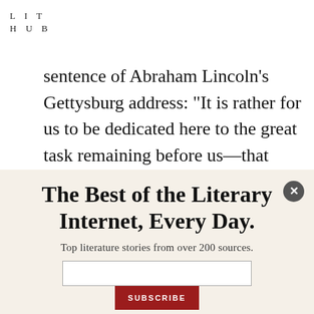LIT
HUB
sentence of Abraham Lincoln’s Gettysburg address: “It is rather for us to be dedicated here to the great task remaining before us—that from these honored dead we take increased devotion to that cause for
The Best of the Literary Internet, Every Day.
Top literature stories from over 200 sources.